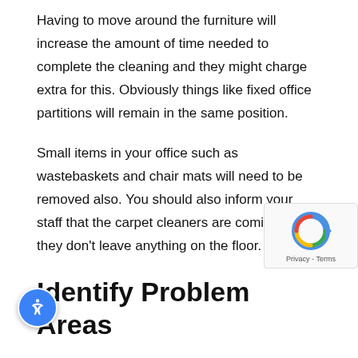Having to move around the furniture will increase the amount of time needed to complete the cleaning and they might charge extra for this. Obviously things like fixed office partitions will remain in the same position.
Small items in your office such as wastebaskets and chair mats will need to be removed also. You should also inform your staff that the carpet cleaners are coming so they don't leave anything on the floor.
Identify Problem Areas
Before the cleaners arrive, you need to complete a walkthrough of your office and take a look at the carpe will be looking for any areas that are stained or need ular attention. You should make a note of these areas and inform the cleaners when they arrive. It is recommended